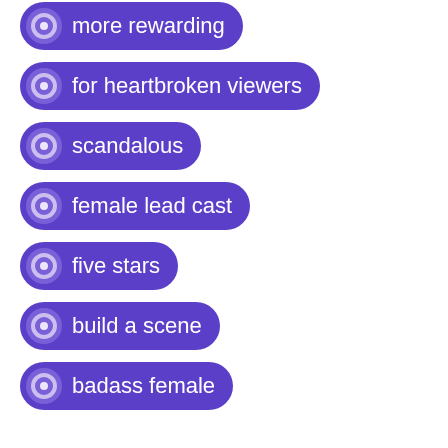more rewarding
for heartbroken viewers
scandalous
female lead cast
five stars
build a scene
badass female